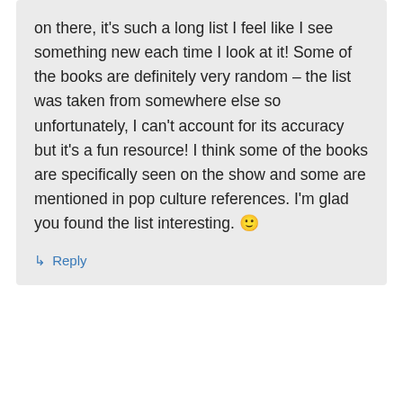on there, it's such a long list I feel like I see something new each time I look at it! Some of the books are definitely very random – the list was taken from somewhere else so unfortunately, I can't account for its accuracy but it's a fun resource! I think some of the books are specifically seen on the show and some are mentioned in pop culture references. I'm glad you found the list interesting. 🙂
↳ Reply
[Figure (photo): Partial circular avatar/profile photo of a person with light brown/blonde hair, cropped at the bottom of the page]